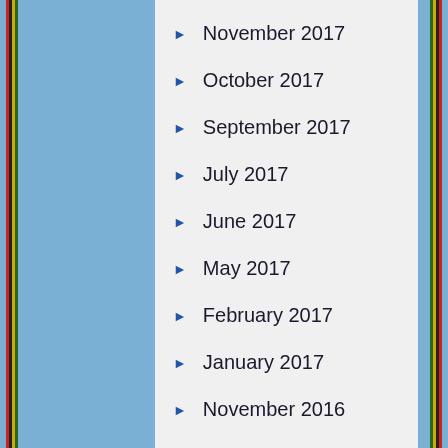November 2017
October 2017
September 2017
July 2017
June 2017
May 2017
February 2017
January 2017
November 2016
October 2016